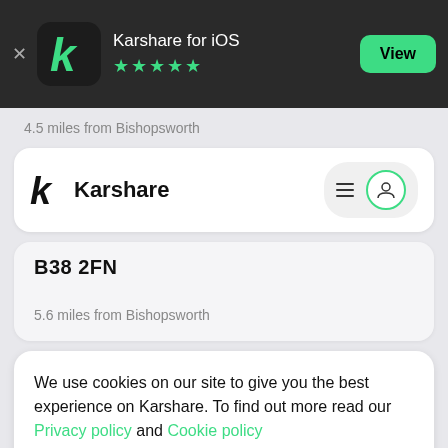[Figure (screenshot): App Store banner for Karshare for iOS with 5 green stars and a View button]
4.5 miles from Bishopsworth
[Figure (screenshot): Karshare navigation bar with logo, hamburger menu and user icon]
B38 2FN
5.6 miles from Bishopsworth
We use cookies on our site to give you the best experience on Karshare. To find out more read our Privacy policy and Cookie policy
Okay